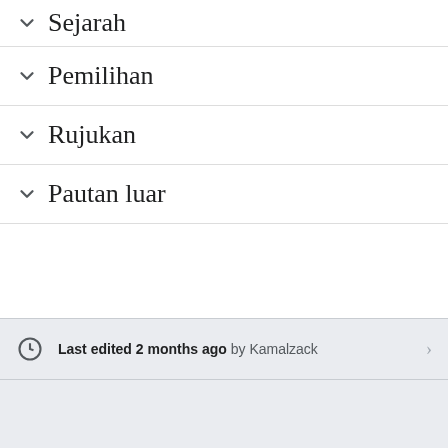Sejarah
Pemilihan
Rujukan
Pautan luar
Last edited 2 months ago by Kamalzack